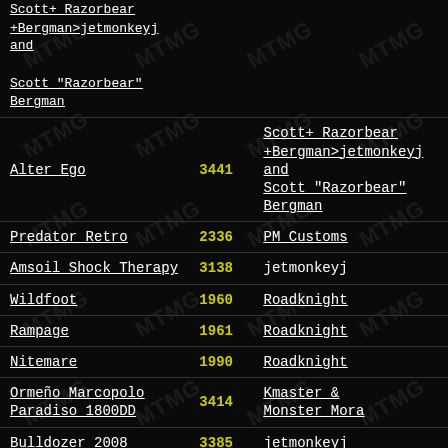| Name | ID | Author/Creator |
| --- | --- | --- |
| Alter Ego | 3441 | Scott+ Razorbear +Bergman>jetmonkeyj and Scott "Razorbear" Bergman |
| Predator Retro | 2336 | PM Customs |
| Amsoil Shock Therapy | 3138 | jetmonkeyj |
| Wildfoot | 1960 | Roadknight |
| Rampage | 1961 | Roadknight |
| Nitemare | 1990 | Roadknight |
| Ormeño Marcopolo Paradiso 1800DD | 3414 | Kmaster & Monster_Mora |
| Bulldozer 2008 | 3385 | jetmonkeyj |
| Jam | 1989 | Macduff |
| Ride Truck | 2813 | PM Customs |
| Caterpillar CAT797B | 2359 | Monster_Mora |
| Bigfoot 10 2008 | 4120 | Jetmonkeyj & JerOutlaw |
| Captain USA PSM | 3323 | jetmonkeyj/Betrayal88 |